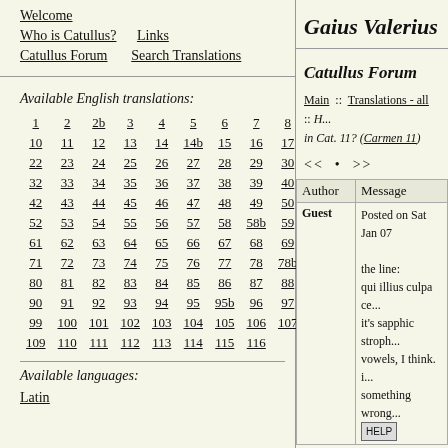Welcome  Who is Catullus?  Links  Catullus Forum  Search Translations
Gaius Valerius
Available English translations:
1, 2, 2b, 3, 4, 5, 6, 7, 8, 9, 10, 11, 12, 13, 14, 14b, 15, 16, 17, 21, 22, 23, 24, 25, 26, 27, 28, 29, 30, 31, 32, 33, 34, 35, 36, 37, 38, 39, 40, 41, 42, 43, 44, 45, 46, 47, 48, 49, 50, 51, 52, 53, 54, 55, 56, 57, 58, 58b, 59, 60, 61, 62, 63, 64, 65, 66, 67, 68, 69, 70, 71, 72, 73, 74, 75, 76, 77, 78, 78b, 79, 80, 81, 82, 83, 84, 85, 86, 87, 88, 89, 90, 91, 92, 93, 94, 95, 95b, 96, 97, 98, 99, 100, 101, 102, 103, 104, 105, 106, 107, 108, 109, 110, 111, 112, 113, 114, 115, 116
Available languages:
Latin
Catullus Forum
Main :: Translations - all :: H... in Cat. 11? (Carmen 11)
<< • >>
| Author | Message |
| --- | --- |
| Guest | Posted on Sat Jan 07

the line:
qui illius culpa ce...
it's sapphic stroph...
vowels, I think. i...
something wrong... |
[Figure (other): HELP button]